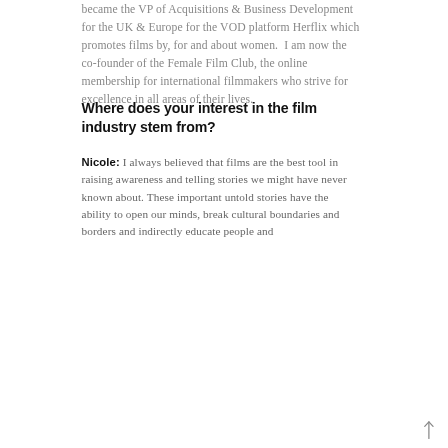became the VP of Acquisitions & Business Development for the UK & Europe for the VOD platform Herflix which promotes films by, for and about women.  I am now the co-founder of the Female Film Club, the online membership for international filmmakers who strive for excellence in all areas of their lives.
Where does your interest in the film industry stem from?
Nicole: I always believed that films are the best tool in raising awareness and telling stories we might have never known about. These important untold stories have the ability to open our minds, break cultural boundaries and borders and indirectly educate people and